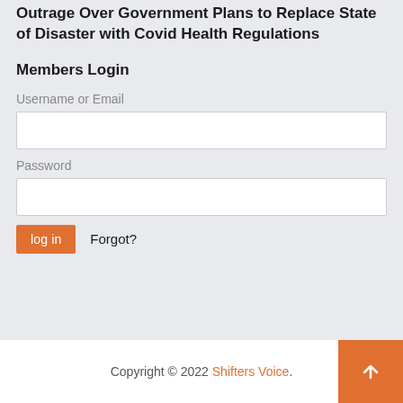Outrage Over Government Plans to Replace State of Disaster with Covid Health Regulations
Members Login
Username or Email
Password
log in  Forgot?
Copyright © 2022 Shifters Voice.